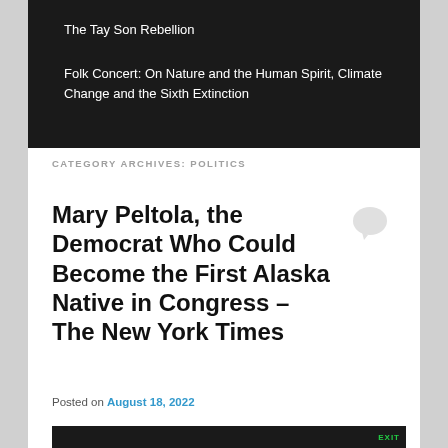The Tay Son Rebellion
Folk Concert: On Nature and the Human Spirit, Climate Change and the Sixth Extinction
CATEGORY ARCHIVES: POLITICS
Mary Peltola, the Democrat Who Could Become the First Alaska Native in Congress – The New York Times
Posted on August 18, 2022
[Figure (photo): Dark image with EXIT sign visible on right side]